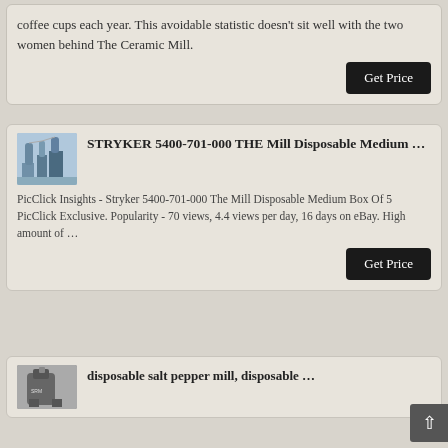coffee cups each year. This avoidable statistic doesn't sit well with the two women behind The Ceramic Mill.
Get Price
STRYKER 5400-701-000 THE Mill Disposable Medium …
PicClick Insights - Stryker 5400-701-000 The Mill Disposable Medium Box Of 5 PicClick Exclusive. Popularity - 70 views, 4.4 views per day, 16 days on eBay. High amount of …
Get Price
disposable salt pepper mill, disposable …